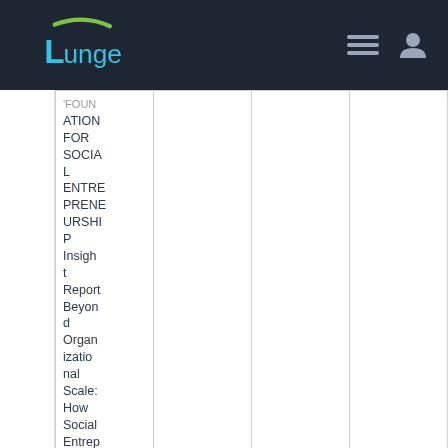Lunge - navigation header with logo and icons
| FOUNDATION FOR SOCIAL ENTREPRENEURSHIP Insight Report Beyond Organizational Scale: How Social Entrepreneurs... |  |  |  |
|  |  | /model to... |  |